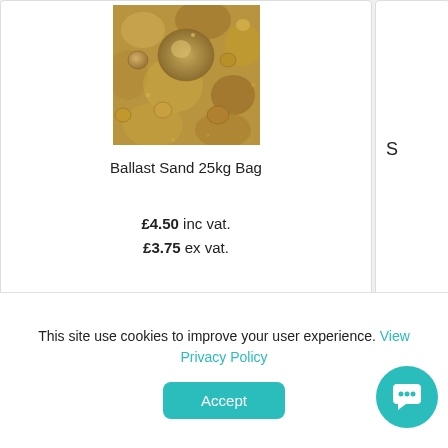[Figure (photo): Close-up photo of ballast sand with small stones and pebbles in sandy/brown tones]
Ballast Sand 25kg Bag
£4.50 inc vat. £3.75 ex vat.
S
This site use cookies to improve your user experience. View Privacy Policy
Accept